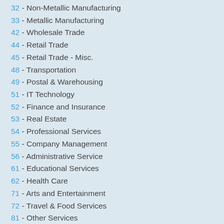32 - Non-Metallic Manufacturing
33 - Metallic Manufacturing
42 - Wholesale Trade
44 - Retail Trade
45 - Retail Trade - Misc.
48 - Transportation
49 - Postal & Warehousing
51 - IT Technology
52 - Finance and Insurance
53 - Real Estate
54 - Professional Services
55 - Company Management
56 - Administrative Service
61 - Educational Services
62 - Health Care
71 - Arts and Entertainment
72 - Travel & Food Services
81 - Other Services
92 - Public Administration